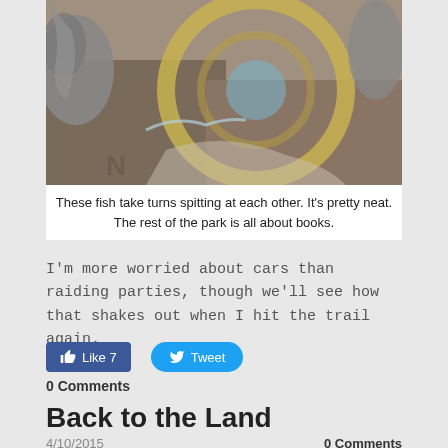[Figure (photo): Aerial/close-up view of a decorative stone fountain or park floor with a large circular gold/yellow ring design and fish or animal sculptures around it. The letter 'N' is partially visible on the stone floor.]
These fish take turns spitting at each other. It's pretty neat. The rest of the park is all about books.
I'm more worried about cars than raiding parties, though we'll see how that shakes out when I hit the trail again.
[Figure (screenshot): Facebook Like button showing 'Like 7' and Twitter Tweet button]
0 Comments
Back to the Land
4/10/2015
0 Comments
You want to know how things have changed since Lawson's time? Look at the land; if I'm learning anything on the Lawson